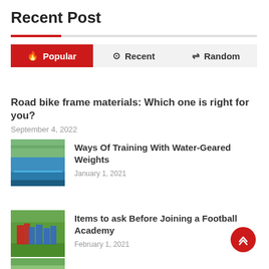Recent Post
Popular | Recent | Random
Road bike frame materials: Which one is right for you?
September 4, 2022
[Figure (photo): Outdoor swimming pool with blue water and hills in the background]
Ways Of Training With Water-Geared Weights
January 1, 2021
[Figure (photo): Football players on a green field during a match]
Items to ask Before Joining a Football Academy
February 1, 2021
[Figure (photo): Partially visible thumbnail image at the bottom]